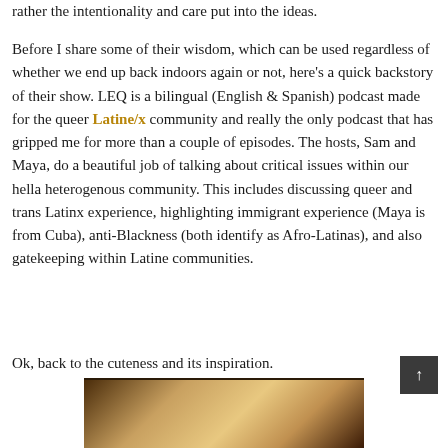rather the intentionality and care put into the ideas.
Before I share some of their wisdom, which can be used regardless of whether we end up back indoors again or not, here's a quick backstory of their show. LEQ is a bilingual (English & Spanish) podcast made for the queer Latine/x community and really the only podcast that has gripped me for more than a couple of episodes. The hosts, Sam and Maya, do a beautiful job of talking about critical issues within our hella heterogenous community. This includes discussing queer and trans Latinx experience, highlighting immigrant experience (Maya is from Cuba), anti-Blackness (both identify as Afro-Latinas), and also gatekeeping within Latine communities.
Ok, back to the cuteness and its inspiration.
[Figure (photo): Bottom portion of a photo showing what appears to be wooden furniture or cabinet with warm brown tones]